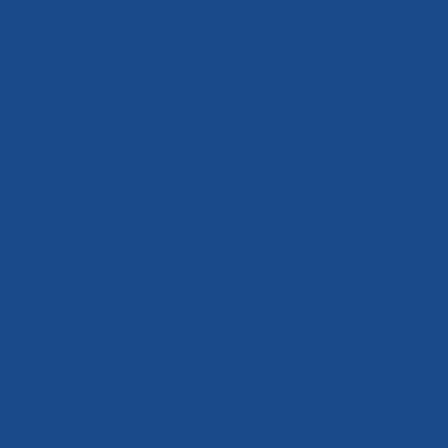Re: Night of the Long Knives?
Indeed, this is not a democracy. No private don't think he deserves to be permabanned frequently contributed content (mods) to th

But it's not mine to decide. I don't run and
May 3rd, 2010, 03:37 AM
rdonj Offline
General
Re: Night of the Long Knives?
Quote:
Originally Posted by Edi
Quote:
Originally Posted by TwoBits
I can understand banning someone specifics of it.

I mean, how do I know if it was wa answered my own question...

Had it only been discussion of the spe well as people essentially picking fight